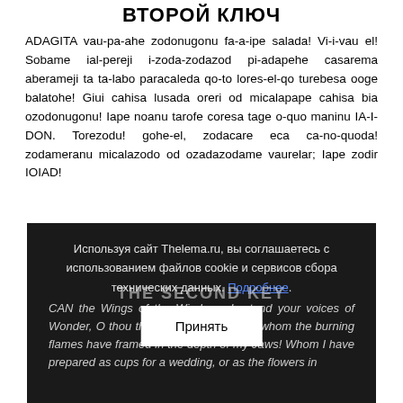ВТОРОЙ КЛЮЧ
ADAGITA vau-pa-ahe zodonugonu fa-a-ipe salada! Vi-i-vau el! Sobame ial-pereji i-zoda-zodazod pi-adapehe casarema aberameji ta ta-labo paracaleda qo-to lores-el-qo turebesa ooge balatohe! Giui cahisa lusada oreri od micalapape cahisa bia ozodonugonu! Iape noanu tarofe coresa tage o-quo maninu IA-I-DON. Torezodu! gohe-el, zodacare eca ca-no-quoda! zodameranu micalazodo od ozadazodame vaurelar; Iape zodir IOIAD!
Используя сайт Thelema.ru, вы соглашаетесь с использованием файлов cookie и сервисов сбора технических данных. Подробнее.
Принять
THE SECOND KEY
CAN the Wings of the Winds understand your voices of Wonder, O thou the second of the First! whom the burning flames have framed in the depth of my Jaws! Whom I have prepared as cups for a wedding, or as the flowers in